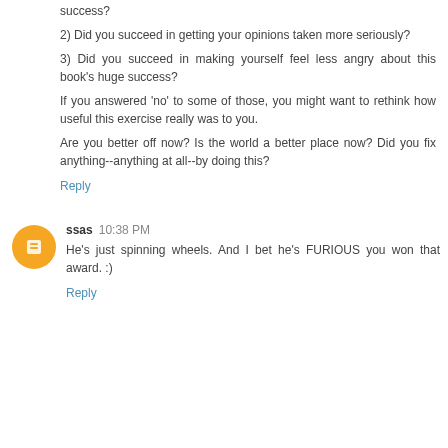success?
2) Did you succeed in getting your opinions taken more seriously?
3) Did you succeed in making yourself feel less angry about this book's huge success?
If you answered 'no' to some of those, you might want to rethink how useful this exercise really was to you.
Are you better off now? Is the world a better place now? Did you fix anything--anything at all--by doing this?
Reply
ssas 10:38 PM
He's just spinning wheels. And I bet he's FURIOUS you won that award. :)
Reply